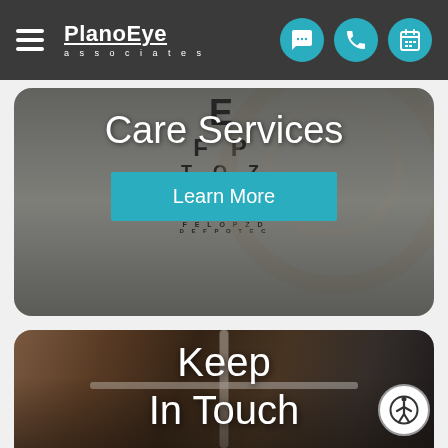PlanoEye associates
[Figure (photo): Eye chart / ophthalmology equipment background with 'Care Services' text overlay and 'Learn More' button]
Care Services
Learn More
[Figure (photo): Man looking through slit lamp ophthalmology equipment with 'Keep In Touch' text overlay]